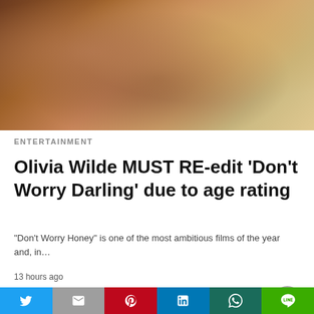[Figure (photo): Close-up of two people facing each other intimately, one with dark hair touching the other's face, the other with blonde hair]
ENTERTAINMENT
Olivia Wilde MUST RE-edit ‘Don’t Worry Darling’ due to age rating
"Don't Worry Honey" is one of the most ambitious films of the year and, in…
13 hours ago
All Rights Reserved  View Non-AMP Version